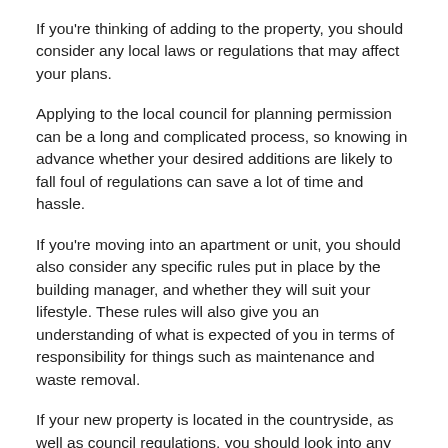If you're thinking of adding to the property, you should consider any local laws or regulations that may affect your plans.
Applying to the local council for planning permission can be a long and complicated process, so knowing in advance whether your desired additions are likely to fall foul of regulations can save a lot of time and hassle.
If you're moving into an apartment or unit, you should also consider any specific rules put in place by the building manager, and whether they will suit your lifestyle. These rules will also give you an understanding of what is expected of you in terms of responsibility for things such as maintenance and waste removal.
If your new property is located in the countryside, as well as council regulations, you should look into any land covenants which impact your property. Covenants can dictate the size or materials